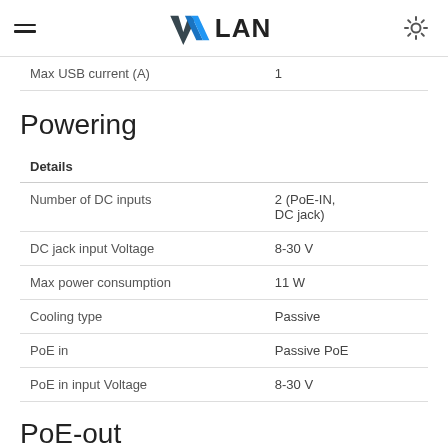≡  W LAN  ⚙
| Details |  |
| --- | --- |
| Max USB current (A) | 1 |
| Number of DC inputs | 2 (PoE-IN, DC jack) |
| DC jack input Voltage | 8-30 V |
| Max power consumption | 11 W |
| Cooling type | Passive |
| PoE in | Passive PoE |
| PoE in input Voltage | 8-30 V |
Powering
PoE-out